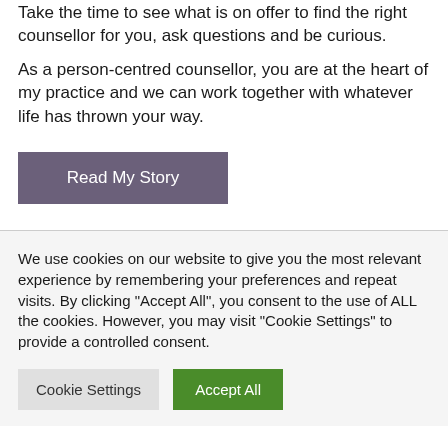Take the time to see what is on offer to find the right counsellor for you, ask questions and be curious.
As a person-centred counsellor, you are at the heart of my practice and we can work together with whatever life has thrown your way.
Read My Story
We use cookies on our website to give you the most relevant experience by remembering your preferences and repeat visits. By clicking "Accept All", you consent to the use of ALL the cookies. However, you may visit "Cookie Settings" to provide a controlled consent.
Cookie Settings
Accept All